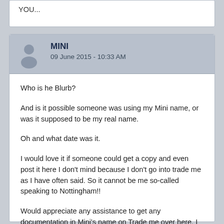YOU...
MINI
09 June 2015 - 10:33 AM
Who is he Blurb?
And is it possible someone was using my Mini name, or was it supposed to be my real name.
Oh and what date was it.
I would love it if someone could get a copy and even post it here I don't mind because I don't go into trade me as I have often said. So it cannot be me so-called speaking to Nottingham!!
Would appreciate any assistance to get any documentation in Mini's name on Trade me over here. I give permission for it to be done.
I have never done any posting on Trade me that I would be ashamed of.